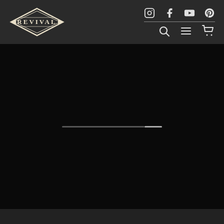[Figure (logo): Revival brand logo — diamond/chevron shape with REVIVAL text in vintage serif style, cream/off-white on dark background]
[Figure (screenshot): Navigation header icons: Instagram, Facebook, YouTube, Pinterest social icons on top row; search magnifier, hamburger menu, shopping cart icons on bottom row]
[Figure (screenshot): Black content area with a horizontal loading progress bar in the center — dark grey background portion and lighter grey completed portion]